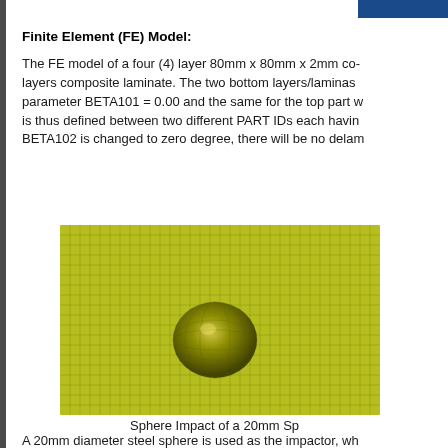Finite Element (FE) Model:
The FE model of a four (4) layer 80mm x 80mm x 2mm composite layers composite laminate. The two bottom layers/laminas parameter BETA101 = 0.00 and the same for the top part w is thus defined between two different PART IDs each havin BETA102 is changed to zero degree, there will be no delam
[Figure (engineering-diagram): Finite element mesh of a square composite laminate plate (80mm x 80mm) with a spherical impactor (20mm diameter steel sphere) shown at the center of the plate. The mesh is a fine grid pattern shown in olive/yellow-green color, and the sphere appears as a darker olive-colored dome shape protruding from the center of the mesh.]
Sphere Impact of a 20mm Sp
A 20mm diameter steel sphere is used as the impactor, wh numerical value of parameter V3. The unit system used in